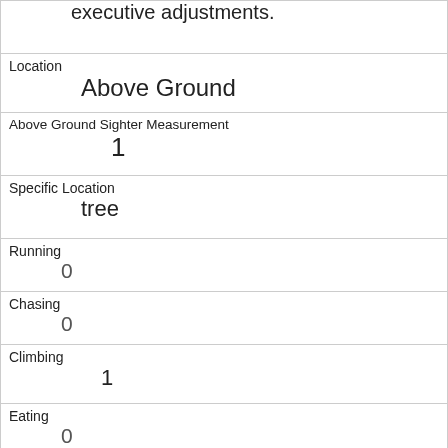| executive adjustments. |
| Location
Above Ground |
| Above Ground Sighter Measurement
1 |
| Specific Location
tree |
| Running
0 |
| Chasing
0 |
| Climbing
1 |
| Eating
0 |
| Foraging
0 |
| Other Activities
 |
| Kuks |